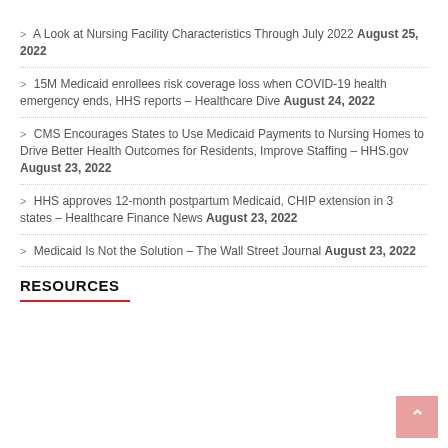> A Look at Nursing Facility Characteristics Through July 2022 August 25, 2022
> 15M Medicaid enrollees risk coverage loss when COVID-19 health emergency ends, HHS reports – Healthcare Dive August 24, 2022
> CMS Encourages States to Use Medicaid Payments to Nursing Homes to Drive Better Health Outcomes for Residents, Improve Staffing – HHS.gov August 23, 2022
> HHS approves 12-month postpartum Medicaid, CHIP extension in 3 states – Healthcare Finance News August 23, 2022
> Medicaid Is Not the Solution – The Wall Street Journal August 23, 2022
RESOURCES